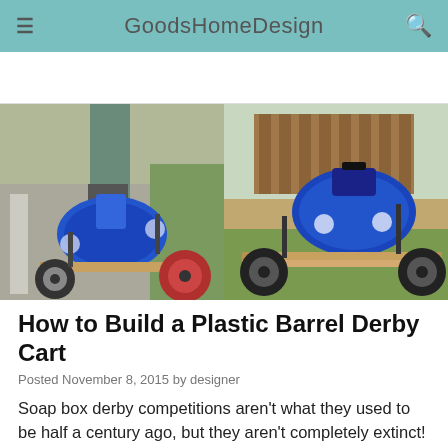GoodsHomeDesign
[Figure (photo): Two photos of a homemade plastic barrel derby cart. Left photo: a child sitting in the blue barrel cart being pushed on a sidewalk by an adult. Right photo: side view of the blue barrel derby cart on grass showing the wooden frame and wheels.]
How to Build a Plastic Barrel Derby Cart
Posted November 8, 2015 by designer
Soap box derby competitions aren't what they used to be half a century ago, but they aren't completely extinct! With parents encouraging kids to lead more active lives outdoors, the simple